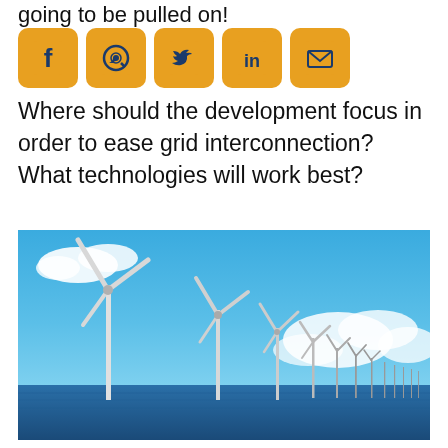going to be pulled on!
[Figure (infographic): Social media share icons: Facebook, WhatsApp, Twitter, LinkedIn, Email — orange/yellow rounded square buttons]
Where should the development focus in order to ease grid interconnection? What technologies will work best?
[Figure (photo): Row of offshore wind turbines receding into the distance on a blue sea, under a blue sky with white clouds]